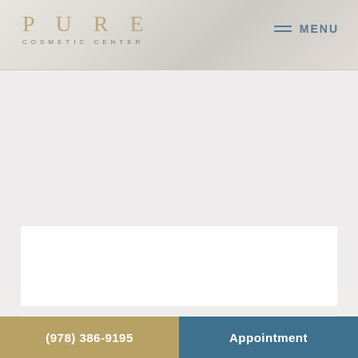PURE COSMETIC CENTER
MENU
[Figure (screenshot): White content card placeholder 1 on light grey background]
[Figure (screenshot): White content card placeholder 2 on light grey background]
(978) 386-9195 | Appointment